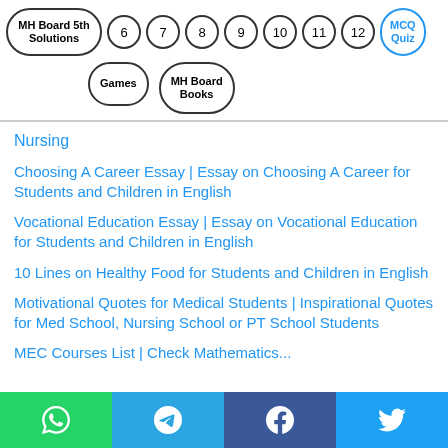[Figure (screenshot): Navigation bar with circular number buttons (6,7,8,9,10,11,12), MH Board 5th Solutions pill, Games pill, MH Board Books pill, MCQ Quiz pill]
Nursing
Choosing A Career Essay | Essay on Choosing A Career for Students and Children in English
Vocational Education Essay | Essay on Vocational Education for Students and Children in English
10 Lines on Healthy Food for Students and Children in English
Motivational Quotes for Medical Students | Inspirational Quotes for Med School, Nursing School or PT School Students
MEC Courses List | Check Mathematics...